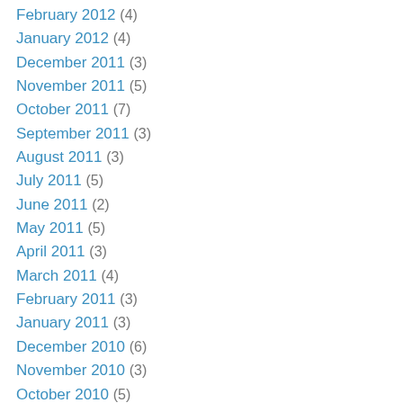February 2012 (4)
January 2012 (4)
December 2011 (3)
November 2011 (5)
October 2011 (7)
September 2011 (3)
August 2011 (3)
July 2011 (5)
June 2011 (2)
May 2011 (5)
April 2011 (3)
March 2011 (4)
February 2011 (3)
January 2011 (3)
December 2010 (6)
November 2010 (3)
October 2010 (5)
September 2010 (6)
August 2010 (14)
July 2010 (6)